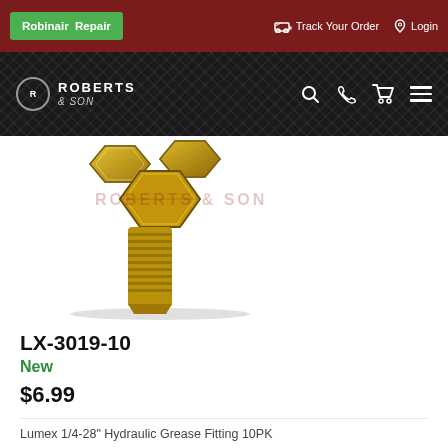Robinair Repair | Track Your Order | Login
[Figure (logo): Roberts & Son logo on dark textured diamond plate background with navigation icons (search, phone, cart, menu)]
[Figure (photo): Lumex LX-3019-10 hydraulic grease fitting, gold/brass colored T-shaped fitting with threaded end, showing multiple angles, with Roberts & Son watermark overlay]
LX-3019-10
New
$6.99
Lumex 1/4-28" Hydraulic Grease Fitting 10PK